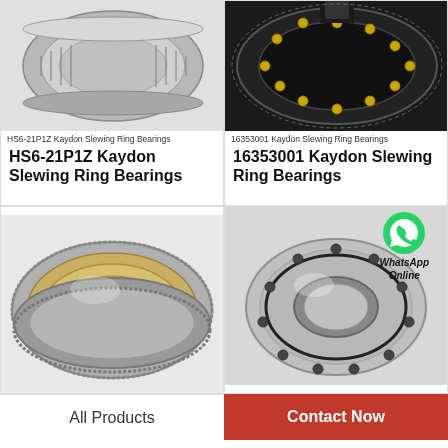[Figure (photo): Photo of HS6-21P1Z Kaydon Slewing Ring Bearing (cylindrical roller type, steel)]
HS6-21P1Z Kaydon Slewing Ring Bearings
HS6-21P1Z Kaydon Slewing Ring Bearings
[Figure (photo): Photo of 16353001 Kaydon Slewing Ring Bearing (large ring type with yellow balls)]
16353001 Kaydon Slewing Ring Bearings
16353001 Kaydon Slewing Ring Bearings
[Figure (photo): Photo of a slewing ring bearing with bronze/gold colored cage, viewed at angle]
[Figure (photo): Photo of a compact slewing ring bearing, silver/gray, top view with bolt holes, and WhatsApp Online overlay]
WhatsApp Online
All Products
Contact Now